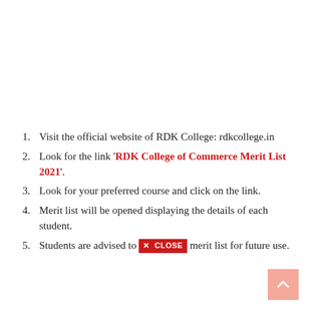Visit the official website of RDK College: rdkcollege.in
Look for the link 'RDK College of Commerce Merit List 2021'.
Look for your preferred course and click on the link.
Merit list will be opened displaying the details of each student.
Students are advised to save merit list for future use.